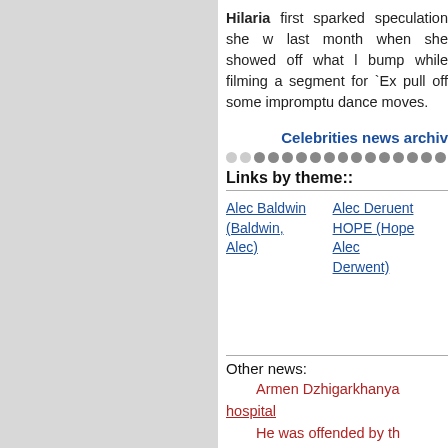Hilaria first sparked speculation she w... last month when she showed off what l... bump while filming a segment for `Ex... pull off some impromptu dance moves.
Celebrities news archiv...
Links by theme::
Alec Baldwin (Baldwin, Alec)
Alec Deruent HOPE (Hope Alec Derwent)
Other news:
Armen Dzhigarkhanya... hospital
He was offended by th... airport
Iosif Prigozhin will vo... Sobchak in the elections
Pan battle Oxxxymira...